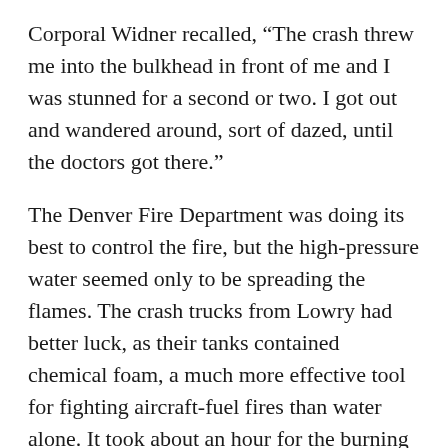Corporal Widner recalled, “The crash threw me into the bulkhead in front of me and I was stunned for a second or two. I got out and wandered around, sort of dazed, until the doctors got there.”
The Denver Fire Department was doing its best to control the fire, but the high-pressure water seemed only to be spreading the flames. The crash trucks from Lowry had better luck, as their tanks contained chemical foam, a much more effective tool for fighting aircraft-fuel fires than water alone. It took about an hour for the burning plane and houses to be extinguished. The Lowry firefighting team then had the grim task of sorting through the